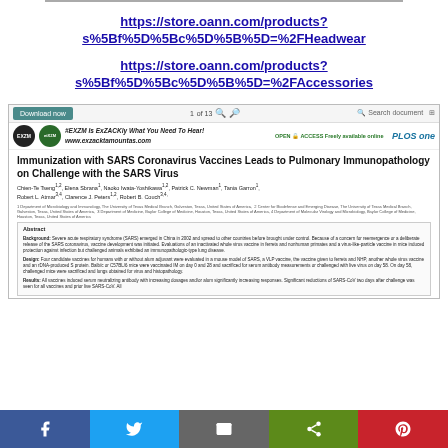https://store.oann.com/products?s%5Bf%5D%5Bc%5D%5B%5D=%2FHeadwear
https://store.oann.com/products?s%5Bf%5D%5Bc%5D%5B%5D=%2FAccessories
[Figure (screenshot): Screenshot of a PLOS ONE scientific paper titled 'Immunization with SARS Coronavirus Vaccines Leads to Pulmonary Immunopathology on Challenge with the SARS Virus' with download button, EXZM logo, and abstract visible]
Immunization with SARS Coronavirus Vaccines Leads to Pulmonary Immunopathology on Challenge with the SARS Virus
Chien-Te Tseng1,2, Elena Sbrana1, Naoko Iwata-Yoshikawa1,2, Patrick C. Newman1, Tania Garron1, Robert L. Atmar3,4, Clarence J. Peters1,2, Robert B. Couch3,4,
Abstract. Background: Severe acute respiratory syndrome (SARS) emerged in China in 2002 and spread to other countries before brought under control...
[Figure (infographic): Social share bar with Facebook, Twitter, email, share, and Pinterest buttons]